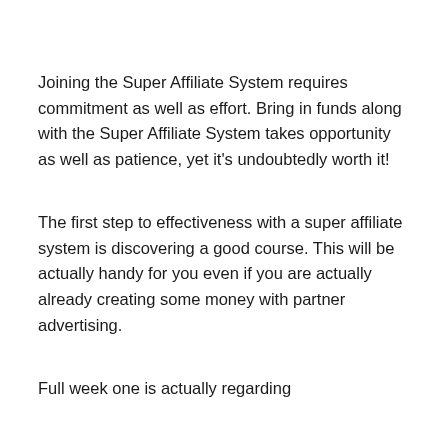Joining the Super Affiliate System requires commitment as well as effort. Bring in funds along with the Super Affiliate System takes opportunity as well as patience, yet it's undoubtedly worth it!
The first step to effectiveness with a super affiliate system is discovering a good course. This will be actually handy for you even if you are actually already creating some money with partner advertising.
Full week one is actually regarding